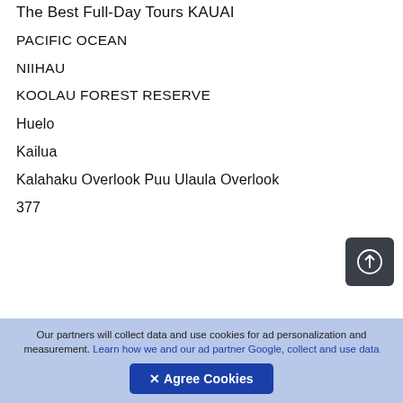The Best Full-Day Tours KAUAI
PACIFIC OCEAN
NIIHAU
KOOLAU FOREST RESERVE
Huelo
Kailua
Kalahaku Overlook Puu Ulaula Overlook
377
Our partners will collect data and use cookies for ad personalization and measurement. Learn how we and our ad partner Google, collect and use data
✕ Agree Cookies